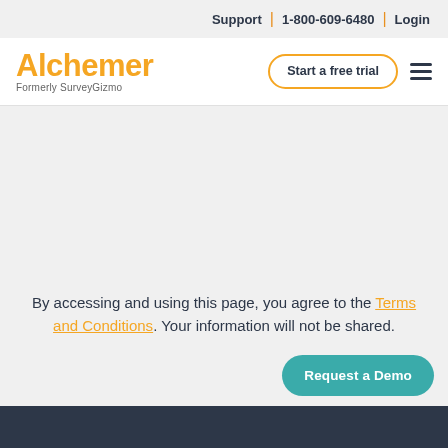Support | 1-800-609-6480 | Login
[Figure (logo): Alchemer logo (formerly SurveyGizmo) in orange with tagline below]
Start a free trial
By accessing and using this page, you agree to the Terms and Conditions. Your information will not be shared.
Request a Demo